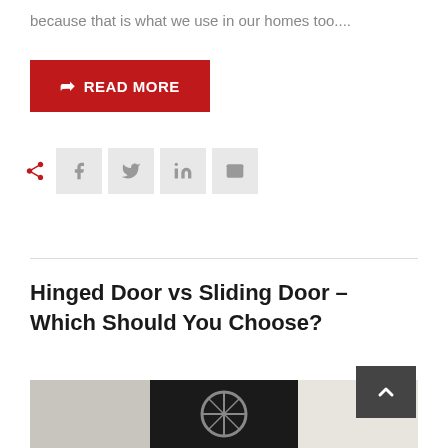because that is what we use in our homes too....
READ MORE
[Figure (other): Social share buttons row: share icon (red), Facebook, Twitter, LinkedIn, Email buttons]
Hinged Door vs Sliding Door – Which Should You Choose?
[Figure (photo): Photo of a hinged door with round window detail, dark frame against light wall]